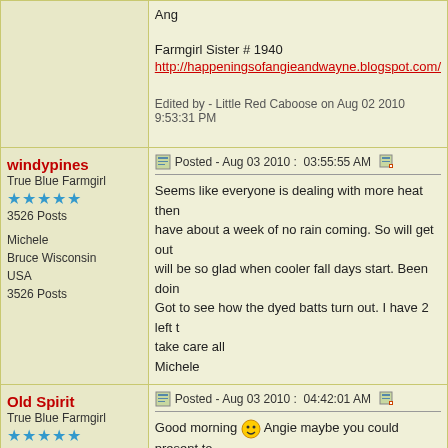| (user col - empty) | Ang

Farmgirl Sister # 1940
http://happeningsofangieandwayne.blogspot.com/

Edited by - Little Red Caboose on Aug 02 2010 9:53:31 PM |
| windypines
True Blue Farmgirl
★★★★★
3526 Posts

Michele
Bruce Wisconsin
USA
3526 Posts | Posted - Aug 03 2010 : 03:55:55 AM
Seems like everyone is dealing with more heat then have about a week of no rain coming. So will get out will be so glad when cooler fall days start. Been doin Got to see how the dyed batts turn out. I have 2 left t take care all
Michele |
| Old Spirit
True Blue Farmgirl
★★★★★
1496 Posts

Rae
MN
1496 Posts | Posted - Aug 03 2010 : 04:42:01 AM
Good morning 😊 Angie maybe you could present to are really anxious to get things going on the farm an she would be doing you the big favor, instead of you of her??? Be good for both parties.

Going to be HOT and STICKY here today, can feel it 6:40. Oh well have stuff to do here. Trying to crochet I picked the pretty, soft and HARD TO crochet with y |